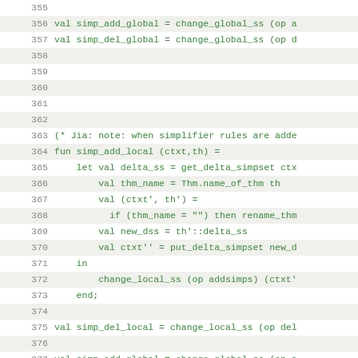[Figure (screenshot): Source code viewer showing ML/SML code lines 355–377. Lines with code are shown in green monospace font. Alternating lines have a light gray background. Line numbers appear in the left gutter. The code defines simplifier-related functions including simp_add_global, simp_del_global, simp_add_local, and simp_del_local.]